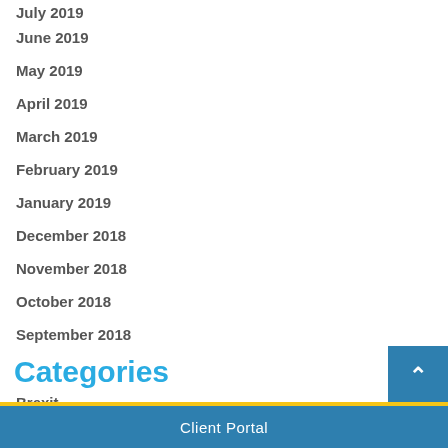July 2019
June 2019
May 2019
April 2019
March 2019
February 2019
January 2019
December 2018
November 2018
October 2018
September 2018
Categories
Brexit
Budget 2018
Business
Client Portal